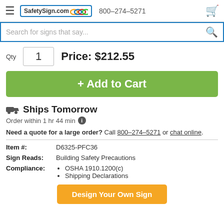SafetySign.com  800-274-5271
Search for signs that say...
Qty  1   Price: $212.55
+ Add to Cart
Ships Tomorrow
Order within 1 hr 44 min
Need a quote for a large order? Call 800-274-5271 or chat online.
| Field | Value |
| --- | --- |
| Item #: | D6325-PFC36 |
| Sign Reads: | Building Safety Precautions |
| Compliance: | OSHA 1910.1200(c)
Shipping Declarations |
Design Your Own Sign